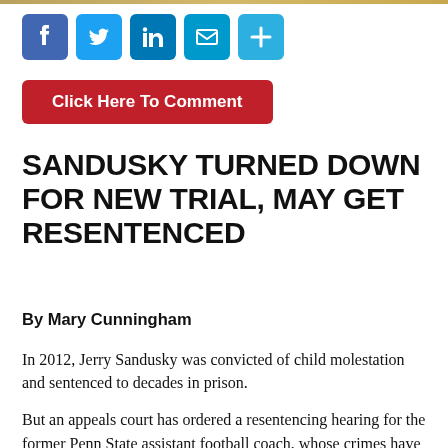[Figure (other): Social media sharing icons: Facebook (blue), Twitter (blue), LinkedIn (blue), Email (light blue), More/Plus (light blue)]
[Figure (other): Red 'Click Here To Comment' button]
SANDUSKY TURNED DOWN FOR NEW TRIAL, MAY GET RESENTENCED
By Mary Cunningham
In 2012, Jerry Sandusky was convicted of child molestation and sentenced to decades in prison.
But an appeals court has ordered a resentencing hearing for the former Penn State assistant football coach, whose crimes have cost the